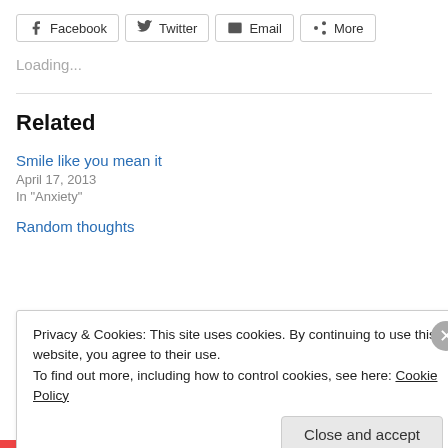[Figure (other): Social share buttons: Facebook, Twitter, Email, More]
Loading...
Related
Smile like you mean it
April 17, 2013
In "Anxiety"
Random thoughts
Privacy & Cookies: This site uses cookies. By continuing to use this website, you agree to their use.
To find out more, including how to control cookies, see here: Cookie Policy